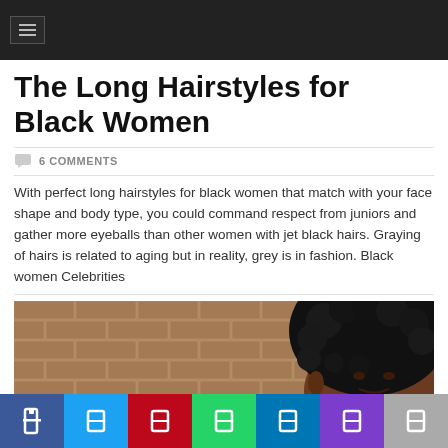≡ (navigation menu)
The Long Hairstyles for Black Women
💬 6 COMMENTS
With perfect long hairstyles for black women that match with your face shape and body type, you could command respect from juniors and gather more eyeballs than other women with jet black hairs. Graying of hairs is related to aging but in reality, grey is in fashion. Black women Celebrities
[Figure (photo): Close-up photo of a Black woman with a voluminous curly afro hairstyle, brick wall background visible.]
Social share buttons: Facebook, Twitter, Pinterest, WhatsApp, LinkedIn, YouTube, More